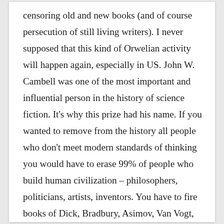censoring old and new books (and of course persecution of still living writers). I never supposed that this kind of Orwelian activity will happen again, especially in US. John W. Cambell was one of the most important and influential person in the history of science fiction. It's why this prize had his name. If you wanted to remove from the history all people who don't meet modern standards of thinking you would have to erase 99% of people who build human civilization – philosophers, politicians, artists, inventors. You have to fire books of Dick, Bradbury, Asimov, Van Vogt, Sheckley... New Orwell world is created not by bloody regimes but free decisions of free (?) people. Sad. And danger for the human civilization.